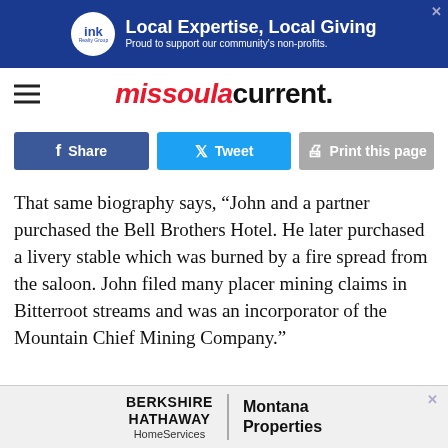[Figure (other): Advertisement banner: ink Realty Group logo with text 'Local Expertise, Local Giving' and 'Proud to support our community's non-profits.' on blue background]
missoulacurrent.
[Figure (other): Social sharing buttons: Facebook Share, Twitter Tweet, Print this page]
That same biography says, “John and a partner purchased the Bell Brothers Hotel. He later purchased a livery stable which was burned by a fire spread from the saloon. John filed many placer mining claims in Bitterroot streams and was an incorporator of the Mountain Chief Mining Company.”
[Figure (other): Advertisement: Berkshire Hathaway HomeServices | Montana Properties]